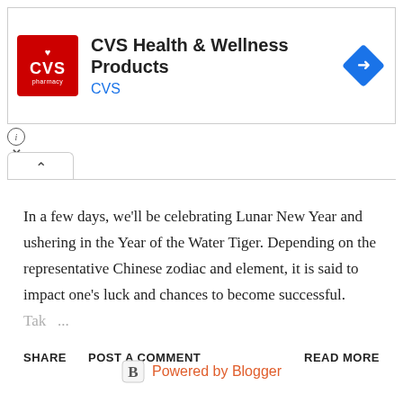[Figure (screenshot): CVS Health & Wellness Products advertisement banner with CVS pharmacy logo (red square with white text and heart icon), title text 'CVS Health & Wellness Products', subtitle 'CVS', and a blue diamond navigation arrow icon on the right. Info (i) and X close buttons below left.]
In a few days, we'll be celebrating Lunar New Year and ushering in the Year of the Water Tiger. Depending on the representative Chinese zodiac and element, it is said to impact one's luck and chances to become successful. Tak ...
SHARE   POST A COMMENT   READ MORE
[Figure (logo): Powered by Blogger footer with Blogger B icon and orange-red text]